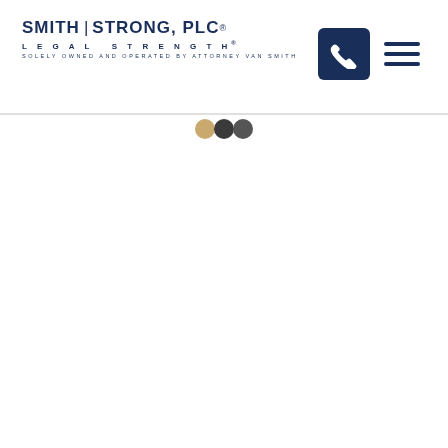SMITH | STRONG, PLC® LEGAL STRENGTH® SOLELY OWNED AND OPERATED BY ATTORNEY VAN SMITH
[Figure (other): Navigation dots: one gold/tan dot and two dark gray dots indicating a carousel or slideshow position indicator]